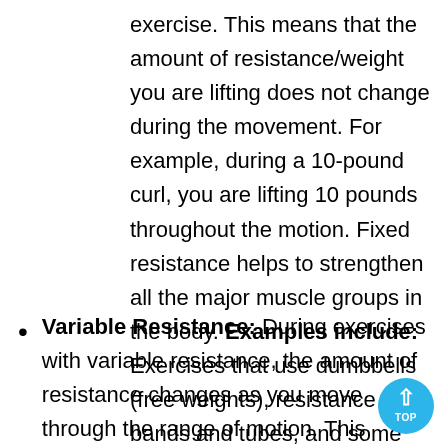exercise. This means that the amount of resistance/weight you are lifting does not change during the movement. For example, during a 10-pound curl, you are lifting 10 pounds throughout the motion. Fixed resistance helps to strengthen all the major muscle groups in the body. Examples include: Exercises that use dumbbells (free weights), resistance bands and tubes, and some machines.
Variable Resistance: During exercises with variable resistance, the amount of resistance changes as you move through the range of motion. This creates a more